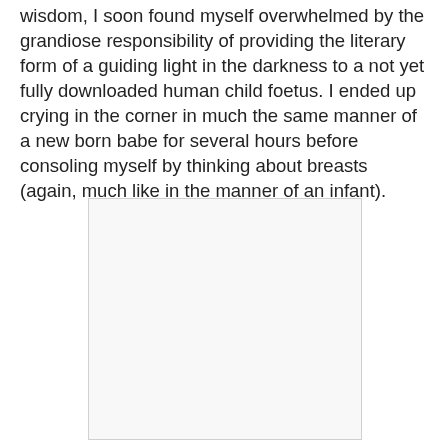wisdom, I soon found myself overwhelmed by the grandiose responsibility of providing the literary form of a guiding light in the darkness to a not yet fully downloaded human child foetus. I ended up crying in the corner in much the same manner of a new born babe for several hours before consoling myself by thinking about breasts (again, much like in the manner of an infant).
[Figure (other): A blank or mostly empty rectangular image placeholder with a light gray border on a white background.]